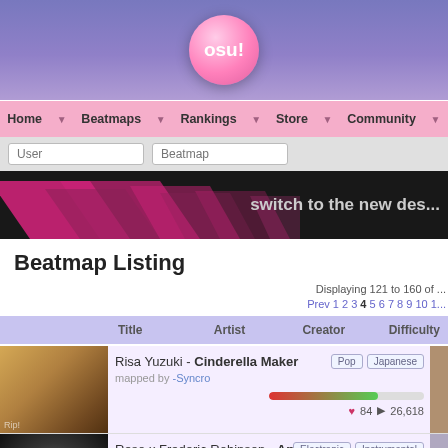[Figure (logo): osu! logo - pink circle with 'osu!' text]
Home  Beatmaps  Rankings  Store  Community
User  Beatmap (search inputs)
[Figure (illustration): osu! banner with pink triangles and 'switch to the new des...' text]
Beatmap Listing
Displaying 121 to 160 of ...
Prev 1 2 3 4 5 6 7 8 9 10 1...
| Title | Artist | Creator | Difficulty |
| --- | --- | --- | --- |
| Risa Yuzuki - Cinderella Maker | Risa Yuzuki | -Syncro | Pop, Japanese | 84 ♥ 26,618 |
| Reso x Frederic Robinson - Apollo 69 | Reso x Frederic Robinson | chaser01 | Electronic, Instrumental | 58 ♥ 6,034 |
| Rita - Tsukisome | Rita | AdveNt | Pop, Japanese |
Risa Yuzuki - Cinderella Maker | mapped by -Syncro | Pop, Japanese | ♥ 84 ▶ 26,618
Reso x Frederic Robinson - Apollo 69 | mapped by chaser01 | Electronic, Instrumental | ♥ 58 ▶ 6,034
Rita - Tsukisome | mapped by AdveNt | Pop, Japanese